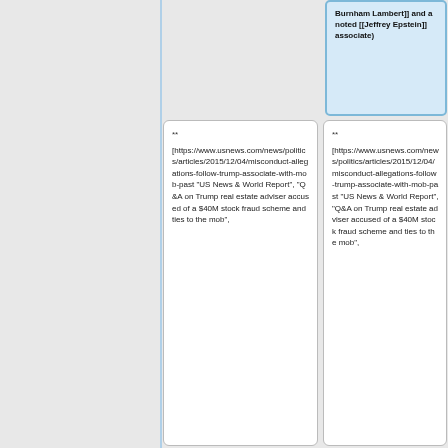Burnham Lambert]] and a noted [[Jeffrey Epstein]] associate)
** [https://www.usnews.com/news/politics/articles/2015/12/04/misconduct-allegations-follow-trump-associate-with-mob-past "US News & World Report", "Q&A on Trump real estate adviser accused of a $40M stock fraud scheme and ties to the mob",
** [https://www.usnews.com/news/politics/articles/2015/12/04/misconduct-allegations-follow-trump-associate-with-mob-past "US News & World Report", "Q&A on Trump real estate adviser accused of a $40M stock fraud scheme and ties to the mob",